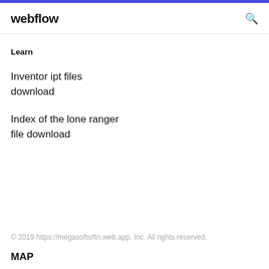webflow
Learn
Inventor ipt files download
Index of the lone ranger file download
© 2019 https://megasoftsiftn.web.app, Inc. All rights reserved.
MAP